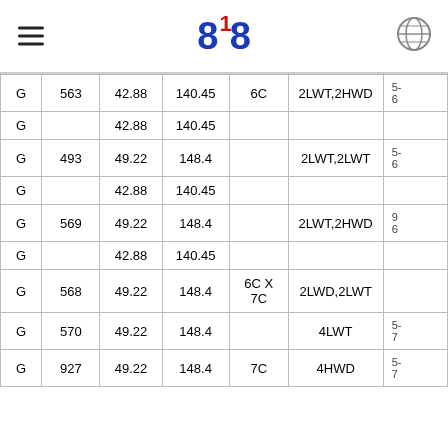818
|  |  |  |  |  |  |  |
| --- | --- | --- | --- | --- | --- | --- |
| G | 563 | 42.88 | 140.45 | 6C | 2LWT,2HWD | 5-
6(partial) |
| G |  | 42.88 | 140.45 |  |  |  |
| G | 493 | 49.22 | 148.4 |  | 2LWT,2LWT | 5-
6(partial) |
| G |  | 42.88 | 140.45 |  |  |  |
| G | 569 | 49.22 | 148.4 |  | 2LWT,2HWD | 9(partial)
6(partial) |
| G |  | 42.88 | 140.45 |  |  |  |
| G | 568 | 49.22 | 148.4 | 6C X 7C | 2LWD,2LWT |  |
| G | 570 | 49.22 | 148.4 |  | 4LWT | 5-
7(partial) |
| G | 927 | 49.22 | 148.4 | 7C | 4HWD | 5-
7(partial) |